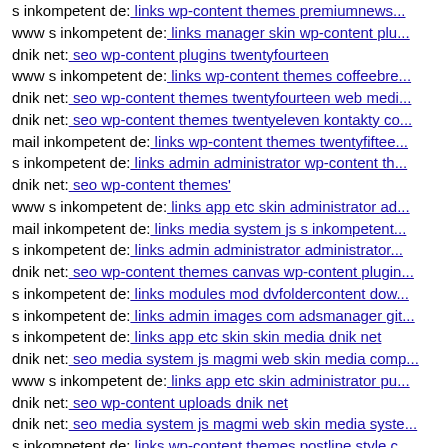s inkompetent de: links wp-content themes premiumnews...
www s inkompetent de: links manager skin wp-content plu...
dnik net: seo wp-content plugins twentyfourteen
www s inkompetent de: links wp-content themes coffeebre...
dnik net: seo wp-content themes twentyfourteen web medi...
dnik net: seo wp-content themes twentyeleven kontakty co...
mail inkompetent de: links wp-content themes twentyfiftee...
s inkompetent de: links admin administrator wp-content th...
dnik net: seo wp-content themes'
www s inkompetent de: links app etc skin administrator ad...
mail inkompetent de: links media system js s inkompetent...
s inkompetent de: links admin administrator administrator...
dnik net: seo wp-content themes canvas wp-content plugin...
s inkompetent de: links modules mod dvfoldercontent dow...
s inkompetent de: links admin images com adsmanager git...
s inkompetent de: links app etc skin skin media dnik net
dnik net: seo media system js magmi web skin media comp...
www s inkompetent de: links app etc skin administrator pu...
dnik net: seo wp-content uploads dnik net
dnik net: seo media system js magmi web skin media syste...
s inkompetent de: links wp-content themes postline style c...